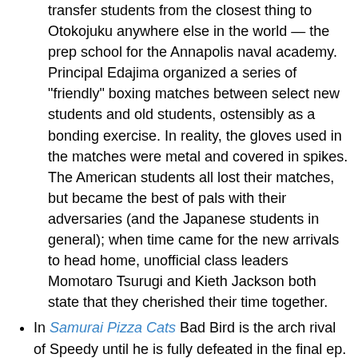transfer students from the closest thing to Otokojuku anywhere else in the world — the prep school for the Annapolis naval academy. Principal Edajima organized a series of "friendly" boxing matches between select new students and old students, ostensibly as a bonding exercise. In reality, the gloves used in the matches were metal and covered in spikes. The American students all lost their matches, but became the best of pals with their adversaries (and the Japanese students in general); when time came for the new arrivals to head home, unofficial class leaders Momotaro Tsurugi and Kieth Jackson both state that they cherished their time together.
In Samurai Pizza Cats Bad Bird is the arch rival of Speedy until he is fully defeated in the final ep. After Speedy gives a speech telling him it's not too late to change, Bad Bird sees the light, becomes Good Bird, and helps Speedy destroy a comet heading for Tokyo.
Lampshaded in the final episode of Sayonara, Zetsubou-Sensei where a character declares himself to be an